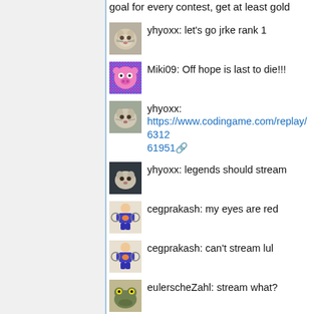goal for every contest, get at least gold
yhyoxx: let's go jrke rank 1
Miki09: Off hope is last to die!!!
yhyoxx: 
https://www.codingame.com/replay/631261951
yhyoxx: legends should stream
cegprakash: my eyes are red
cegprakash: can't stream lul
eulerscheZahl: stream what?